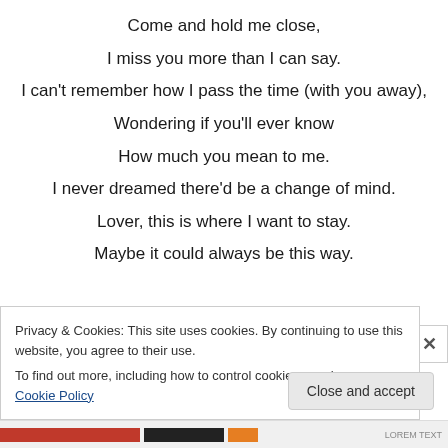Come and hold me close,
I miss you more than I can say.
I can't remember how I pass the time (with you away),
Wondering if you'll ever know
How much you mean to me.
I never dreamed there'd be a change of mind.
Lover, this is where I want to stay.
Maybe it could always be this way.

I recall you said to me
A long, long time ago,
Privacy & Cookies: This site uses cookies. By continuing to use this website, you agree to their use.
To find out more, including how to control cookies, see here: Cookie Policy
Close and accept